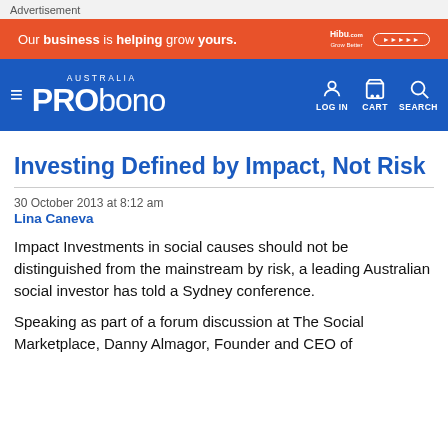Advertisement
[Figure (infographic): Orange advertisement banner: 'Our business is helping grow yours.' with Hibu logo and button]
[Figure (logo): Pro Bono Australia navigation bar with hamburger menu, logo, LOG IN, CART, SEARCH icons]
Investing Defined by Impact, Not Risk
30 October 2013 at 8:12 am
Lina Caneva
Impact Investments in social causes should not be distinguished from the mainstream by risk, a leading Australian social investor has told a Sydney conference.
Speaking as part of a forum discussion at The Social Marketplace, Danny Almagor, Founder and CEO of